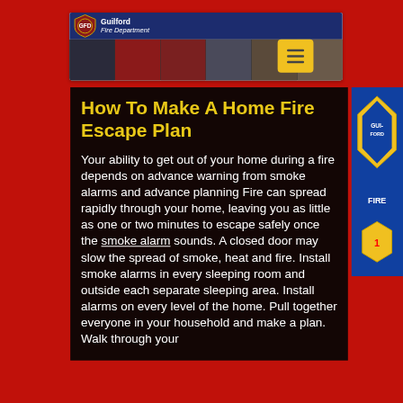[Figure (screenshot): Guilford Fire Department website screenshot showing header with logo and navigation, against a red fire truck background with department badge visible on right.]
Guilford Fire Department
How To Make A Home Fire Escape Plan
Your ability to get out of your home during a fire depends on advance warning from smoke alarms and advance planning Fire can spread rapidly through your home, leaving you as little as one or two minutes to escape safely once the smoke alarm sounds. A closed door may slow the spread of smoke, heat and fire. Install smoke alarms in every sleeping room and outside each separate sleeping area. Install alarms on every level of the home. Pull together everyone in your household and make a plan. Walk through your